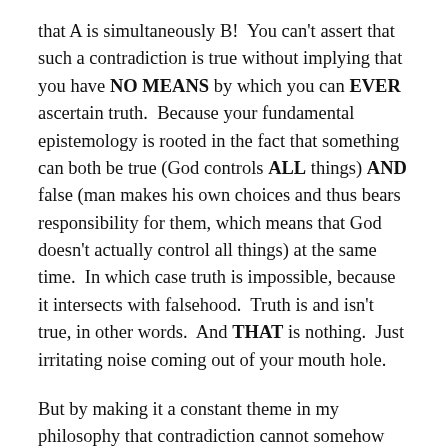that A is simultaneously B!  You can't assert that such a contradiction is true without implying that you have NO MEANS by which you can EVER ascertain truth.  Because your fundamental epistemology is rooted in the fact that something can both be true (God controls ALL things) AND false (man makes his own choices and thus bears responsibility for them, which means that God doesn't actually control all things) at the same time.  In which case truth is impossible, because it intersects with falsehood.  Truth is and isn't true, in other words.  And THAT is nothing.  Just irritating noise coming out of your mouth hole.
But by making it a constant theme in my philosophy that contradiction cannot somehow pass for rationally consistent truth I am called too rigid...an absolutist.  Just too doggone black and white.  No compromise; no bell curve.  The only two flavors are chocolate and vanilla.  The only dinner options are Italian and Mexican.  The only